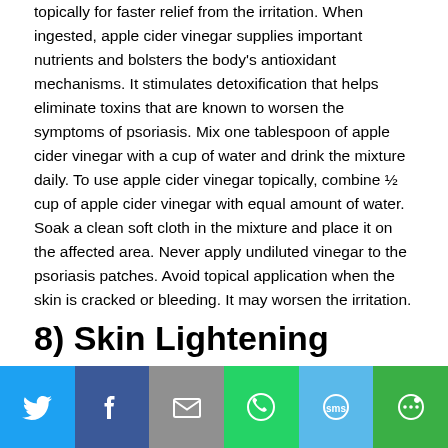topically for faster relief from the irritation. When ingested, apple cider vinegar supplies important nutrients and bolsters the body's antioxidant mechanisms. It stimulates detoxification that helps eliminate toxins that are known to worsen the symptoms of psoriasis. Mix one tablespoon of apple cider vinegar with a cup of water and drink the mixture daily. To use apple cider vinegar topically, combine ½ cup of apple cider vinegar with equal amount of water. Soak a clean soft cloth in the mixture and place it on the affected area. Never apply undiluted vinegar to the psoriasis patches. Avoid topical application when the skin is cracked or bleeding. It may worsen the irritation.
8) Skin Lightening
[Figure (other): Social sharing bar with Twitter, Facebook, Email, WhatsApp, SMS, and More buttons]